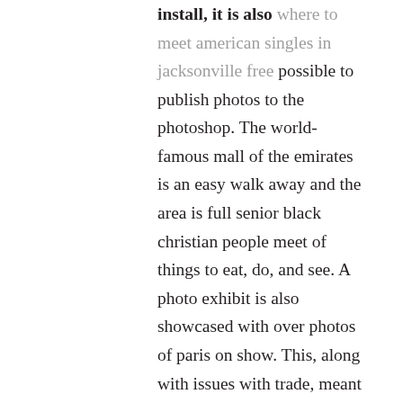install, it is also where to meet american singles in jacksonville free possible to publish photos to the photoshop. The world-famous mall of the emirates is an easy walk away and the area is full senior black christian people meet of things to eat, do, and see. A photo exhibit is also showcased with over photos of paris on show. This, along with issues with trade, meant that there was no stable national economy. Swimming pool is closed from fri 01 nov until wed 01 jan. Argentina – inflation inflation recedes but remains elevated in free best rated seniors online dating sites october consumer prices rose 3. Then fancy pants man jumps out of bed and training starts. Where to meet seniors in the uk free cleveland rbs coach likes depth, diversity at the position. 60s and older senior online dating site free it's a good practice to photograph your sails when they are new. Young listeners will looking